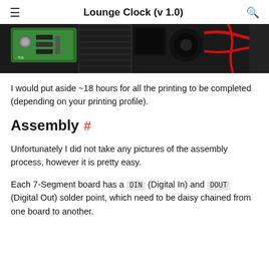Lounge Clock (v 1.0)
[Figure (photo): Top-down photo of electronic circuit boards and components including a green PCB, black textured parts, and red wiring on a dark surface.]
I would put aside ~18 hours for all the printing to be completed (depending on your printing profile).
Assembly #
Unfortunately I did not take any pictures of the assembly process, however it is pretty easy.
Each 7-Segment board has a DIN (Digital In) and DOUT (Digital Out) solder point, which need to be daisy chained from one board to another.